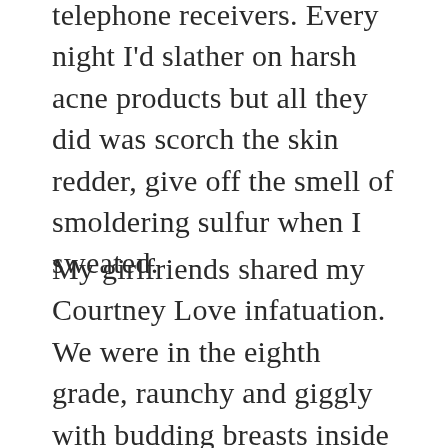telephone receivers. Every night I'd slather on harsh acne products but all they did was scorch the skin redder, give off the smell of smoldering sulfur when I sweated.
My girlfriends shared my Courtney Love infatuation. We were in the eighth grade, raunchy and giggly with budding breasts inside risi...